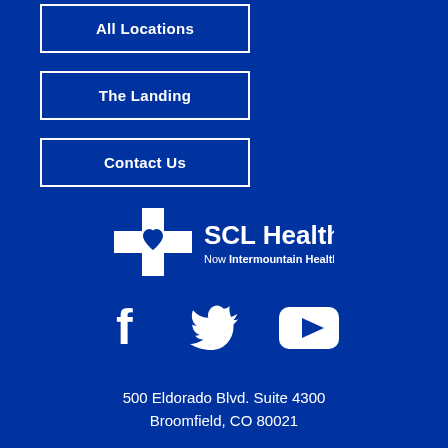All Locations
The Landing
Contact Us
[Figure (logo): SCL Health - Now Intermountain Healthcare logo in white on blue background]
[Figure (infographic): Social media icons: Facebook, Twitter, YouTube in white on blue background]
500 Eldorado Blvd. Suite 4300
Broomfield, CO 80021